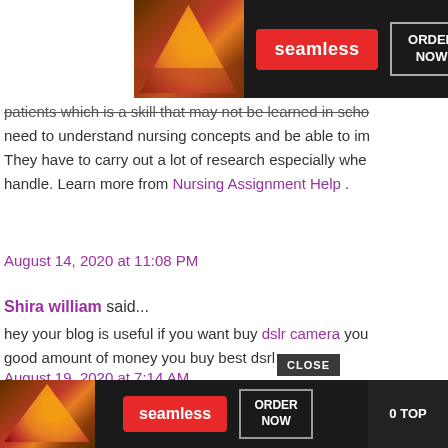[Figure (screenshot): Seamless food delivery advertisement banner at top with pizza image, red Seamless logo button, and ORDER NOW button on dark background]
patients which is a skill that may not be learned in school. need to understand nursing concepts and be able to implement them. They have to carry out a lot of research especially when handle. Learn more from Nursing Assignment Help .
August 14, 2020 at 11:08 PM
Shira william said...
hey your blog is useful if you want buy dslr camera you good amount of money you buy best dsrl camera.
August 19, 2020 at 7:14 AM
Shira william said...
hey your blog is useful if you want buy dslr camera you
[Figure (screenshot): Seamless food delivery advertisement banner at bottom with pizza image, red Seamless logo button, ORDER NOW button, CLOSE button, and 0 TOP button on dark background]